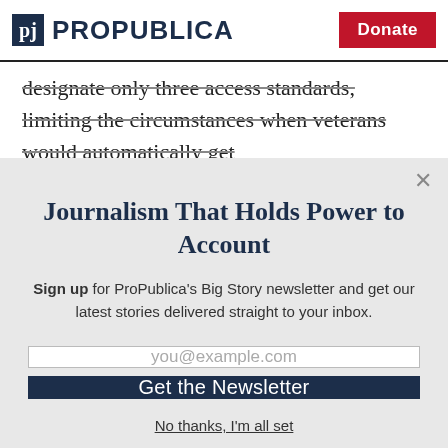ProPublica | Donate
designate only three access standards, limiting the circumstances when veterans would automatically get
Journalism That Holds Power to Account
Sign up for ProPublica's Big Story newsletter and get our latest stories delivered straight to your inbox.
you@example.com
Get the Newsletter
No thanks, I'm all set
This site is protected by reCAPTCHA and the Google Privacy Policy and Terms of Service apply.